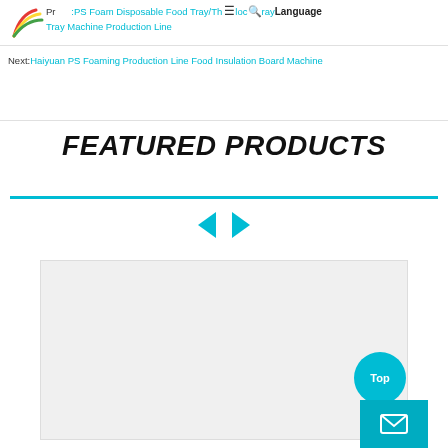Prev: PS Foam Disposable Food Tray/Thermocol Tray/Tray Machine Production Line
Next: Haiyuan PS Foaming Production Line Food Insulation Board Machine
FEATURED PRODUCTS
[Figure (illustration): Carousel navigation arrows (left and right) in cyan color]
[Figure (photo): Product image placeholder area with light gray background]
[Figure (illustration): Top button - cyan circle with 'Top' text, and cyan mail/envelope icon button below]